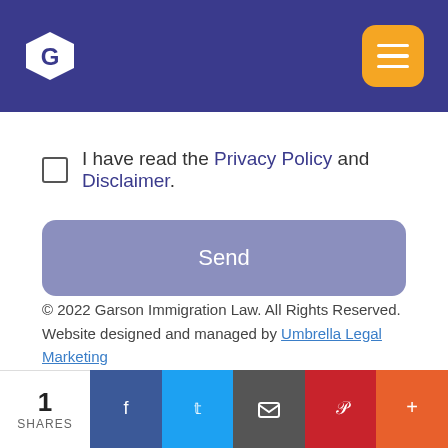Garson Immigration Law – navigation header with logo and menu button
I have read the Privacy Policy and Disclaimer.
Send
© 2022 Garson Immigration Law. All Rights Reserved. Website designed and managed by Umbrella Legal Marketing
1 SHARES